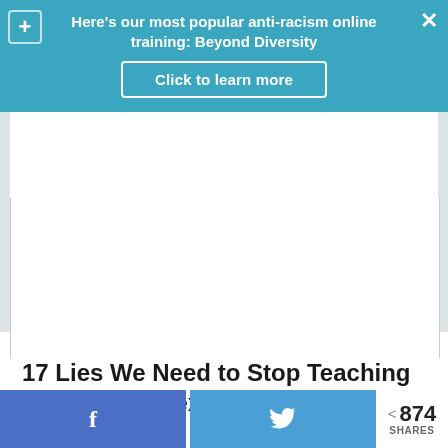Here's our most popular anti-racism online training: Beyond Diversity
Click to learn more
[Figure (other): White content area placeholder (image not visible)]
17 Lies We Need to Stop Teaching Girls About Sex
874 SHARES